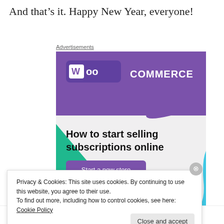And that’s it. Happy New Year, everyone!
Advertisements
[Figure (illustration): WooCommerce advertisement banner showing the WooCommerce logo on a purple background with green and cyan decorative shapes, headline 'How to start selling subscriptions online', and a purple 'Start a new store' button on a light grey background.]
Privacy & Cookies: This site uses cookies. By continuing to use this website, you agree to their use.
To find out more, including how to control cookies, see here: Cookie Policy
in less than a week